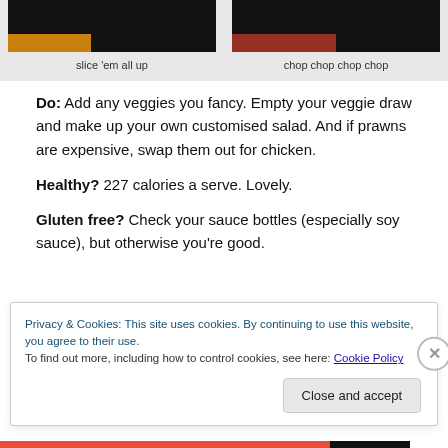[Figure (photo): Two food photos side by side on grey background: left shows sliced vegetables, right shows chopped vegetables]
slice 'em all up
chop chop chop chop
Do: Add any veggies you fancy. Empty your veggie draw and make up your own customised salad. And if prawns are expensive, swap them out for chicken.
Healthy? 227 calories a serve. Lovely.
Gluten free? Check your sauce bottles (especially soy sauce), but otherwise you're good.
Privacy & Cookies: This site uses cookies. By continuing to use this website, you agree to their use.
To find out more, including how to control cookies, see here: Cookie Policy